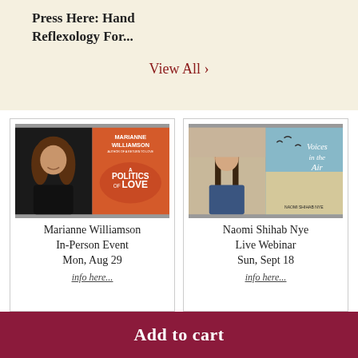Press Here: Hand Reflexology For...
View All ›
[Figure (photo): Marianne Williamson author photo alongside book cover 'A Politics of Love']
Marianne Williamson In-Person Event Mon, Aug 29
info here...
[Figure (photo): Naomi Shihab Nye author photo alongside book cover 'Voices in the Air']
Naomi Shihab Nye Live Webinar Sun, Sept 18
info here...
Add to cart